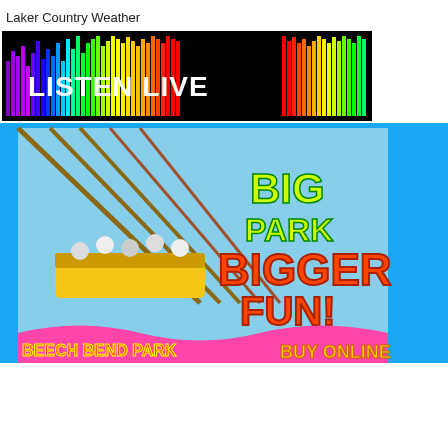Laker Country Weather
[Figure (illustration): Listen Live banner with colorful vertical equalizer bars on black background and white bold text LISTEN LIVE]
[Figure (photo): Beech Bend Park advertisement on blue background showing roller coaster riders with text BIG PARK BIGGER FUN! and BEECH BEND PARK and BUY ONLINE]